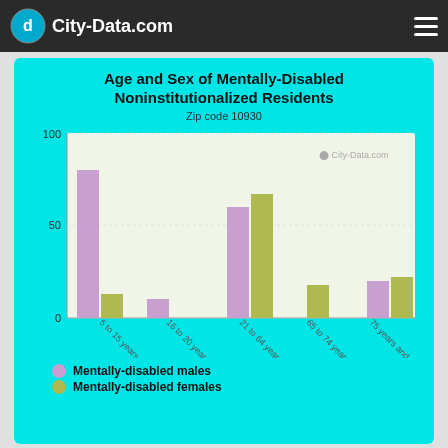City-Data.com
Age and Sex of Mentally-Disabled Noninstitutionalized Residents
Zip code 10930
[Figure (grouped-bar-chart): Age and Sex of Mentally-Disabled Noninstitutionalized Residents]
Mentally-disabled males
Mentally-disabled females